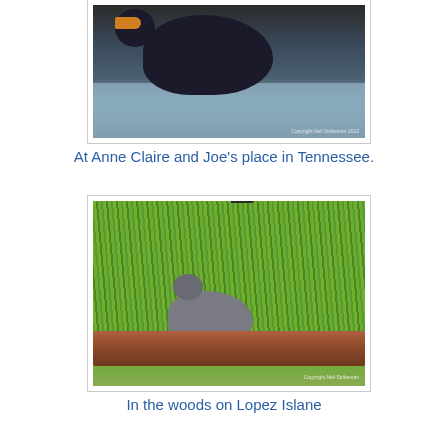[Figure (photo): A dark waterbird (cormorant) swimming in water, viewed from the side, with orange beak visible and water ripples around it.]
At Anne Claire and Joe's place in Tennessee.
[Figure (photo): A mockingbird standing on a log or branch in front of green grass, viewed from the side.]
In the woods on Lopez Islane